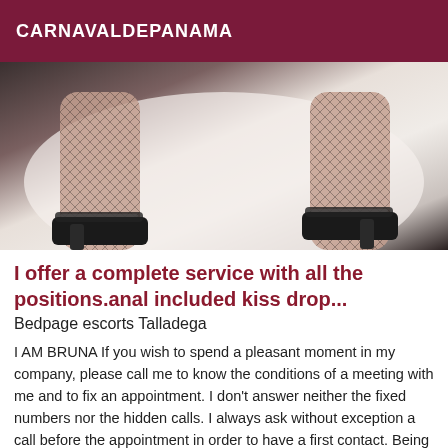CARNAVALDEPANAMA
[Figure (photo): Photo showing legs wearing fishnet stockings and black high heels on white bedding]
I offer a complete service with all the positions.anal included kiss drop...
Bedpage escorts Talladega
I AM BRUNA If you wish to spend a pleasant moment in my company, please call me to know the conditions of a meeting with me and to fix an appointment. I don't answer neither the fixed numbers nor the hidden calls. I always ask without exception a call before the appointment in order to have a first contact. Being quite selective, I specify that I have no time to lose with the rabbits, the curious and the riff-raff ... I only receive GENTLEMANS. if you do not correspond to the idea I